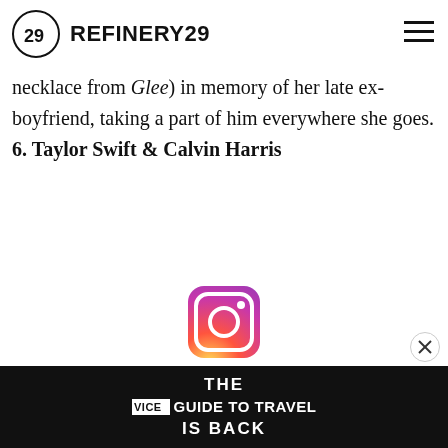REFINERY29
necklace from Glee) in memory of her late ex-boyfriend, taking a part of him everywhere she goes. 6. Taylor Swift & Calvin Harris
[Figure (logo): Instagram logo icon]
[Figure (screenshot): THE VICE GUIDE TO TRAVEL IS BACK advertisement banner]